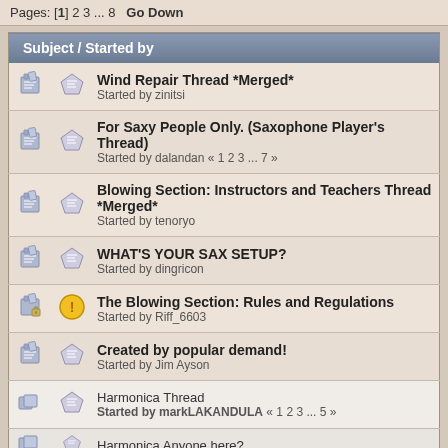Pages: [1] 2 3 ... 8   Go Down
| Subject / Started by |
| --- |
| Wind Repair Thread *Merged*
Started by zinitsi |
| For Saxy People Only. (Saxophone Player's Thread)
Started by dalandan « 1 2 3 ... 7 » |
| Blowing Section: Instructors and Teachers Thread *Merged*
Started by tenoryo |
| WHAT'S YOUR SAX SETUP?
Started by dingricon |
| The Blowing Section: Rules and Regulations
Started by Riff_6603 |
| Created by popular demand!
Started by Jim Ayson |
| Harmonica Thread
Started by markLAKANDULA « 1 2 3 ... 5 » |
| Harmonica Anyone here? |